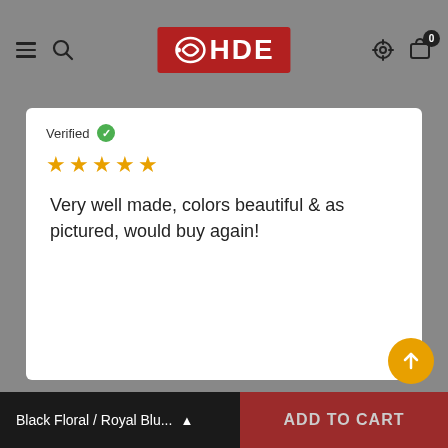HDE header with hamburger menu, search, logo, settings, and cart
Verified
★★★★★
Very well made, colors beautiful & as pictured, would buy again!
Becki Finnerty
Verified
★★★★★
Very easy to wear. Can be low on the hips or can be at the waist. Love this!
Black Floral / Royal Blu... ▲   ADD TO CART